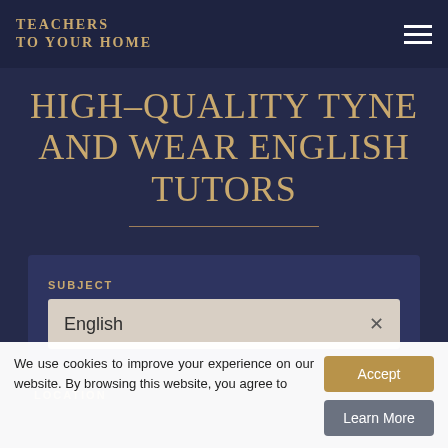TEACHERS TO YOUR HOME
HIGH-QUALITY TYNE AND WEAR ENGLISH TUTORS
SUBJECT
English ×
LOCATION
We use cookies to improve your experience on our website. By browsing this website, you agree to
Accept
Learn More